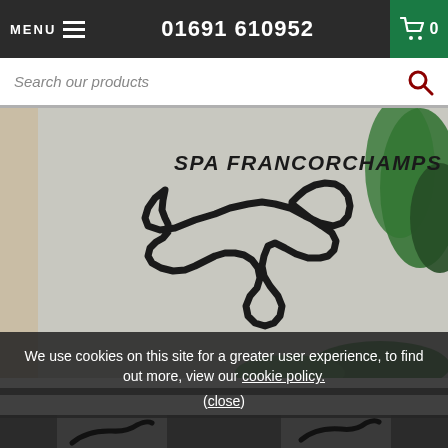MENU  01691 610952  0
Search our products
[Figure (photo): A black metal wall art piece in the shape of the Spa-Francorchamps Formula 1 circuit, mounted on a white wall, with green tropical plants in the foreground and background. The track art has 'SPA FRANCORCHAMPS' text at the top.]
We use cookies on this site for a greater user experience, to find out more, view our cookie policy.
(close)